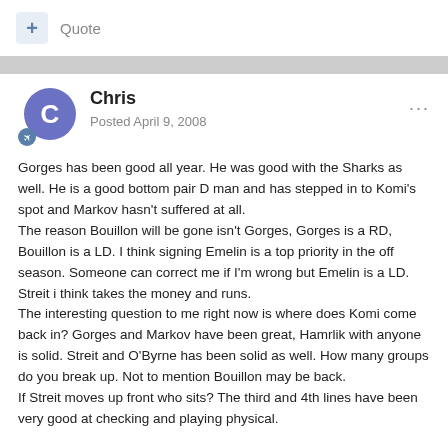+ Quote
Chris
Posted April 9, 2008
Gorges has been good all year. He was good with the Sharks as well. He is a good bottom pair D man and has stepped in to Komi's spot and Markov hasn't suffered at all.
The reason Bouillon will be gone isn't Gorges, Gorges is a RD, Bouillon is a LD. I think signing Emelin is a top priority in the off season. Someone can correct me if I'm wrong but Emelin is a LD. Streit i think takes the money and runs.
The interesting question to me right now is where does Komi come back in? Gorges and Markov have been great, Hamrlik with anyone is solid. Streit and O'Byrne has been solid as well. How many groups do you break up. Not to mention Bouillon may be back.
If Streit moves up front who sits? The third and 4th lines have been very good at checking and playing physical.